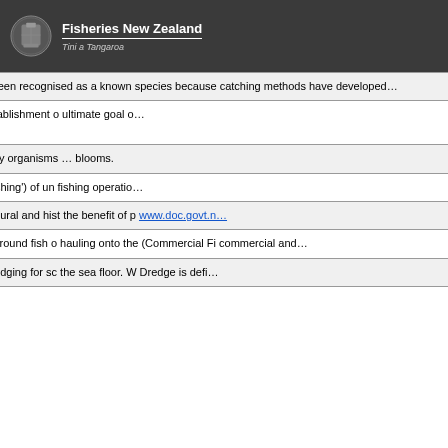Fisheries New Zealand — Tini a Tangaroa
| Term | Definition |
| --- | --- |
| (continued) | has only recently been recognised as a known species because catching methods have developed... |
| Development (of fisheries) | Transition from establishment of ultimate goal o... |
| Dinoflagellates | One of the main tiny organisms ... blooms. |
| Discarding | A less emotive 'trashing') of un fishing operatio... |
| DoC | The central go natural and hist the benefit of p www.doc.govt.n... |
| Drag netting | A fishing metho surround fish o hauling onto the (Commercial Fi commercial and... |
| Dredging | A fishing metho dredging for sc the sea floor. W Dredge is defi... |